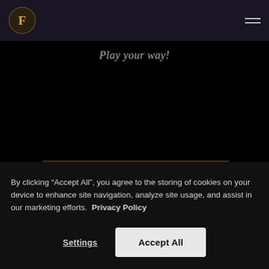[Figure (logo): Circular logo with letter F on dark background, top left of navigation bar]
Play your way!
[Figure (other): START NOW button — dark red button with gold/brown border and uppercase text]
By clicking “Accept All”, you agree to the storing of cookies on your device to enhance site navigation, analyze site usage, and assist in our marketing efforts. Privacy Policy
Settings
Accept All